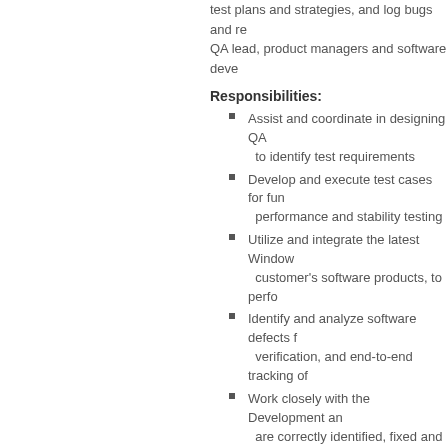test plans and strategies, and log bugs and re... QA lead, product managers and software deve...
Responsibilities:
Assist and coordinate in designing QA... to identify test requirements
Develop and execute test cases for fu... performance and stability testing
Utilize and integrate the latest Window... customer's software products, to perfo...
Identify and analyze software defects f... verification, and end-to-end tracking of...
Work closely with the Development an... are correctly identified, fixed and incorp...
Provide comprehensive work summari...
Skills required:
2 years or more of QA experience in th...
Demonstrated excellent analytical and... hardware
Strong attention to detail and organizat...
Demonstrated ability to write clear and...
Experience with automated testing tool...
Working knowledge of Java, Web Serv...
Knowledge of network architectures, c... environments, and experience working...
Ability to work under minimal supervisi...
Bachelor degree in Computer Science...
Skills preferred:
Experience in the digital video industry...
If you think that you qualify for this position...